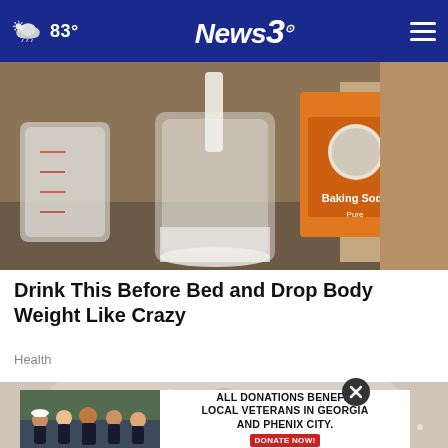83° News3
[Figure (photo): Person pouring baking soda (Arm & Hammer brand) from orange box into a glass jar, with a measuring cup visible on left]
Drink This Before Bed and Drop Body Weight Like Crazy
Health
[Figure (photo): Close-up of a face covered in white powder/substance]
[Figure (photo): Advertisement: group of people in black shirts with text 'ALL DONATIONS BENEFIT LOCAL VETERANS IN GEORGIA AND PHENIX CITY.' with a red DONATE NOW button]